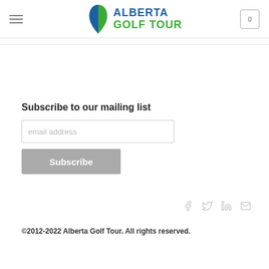Alberta Golf Tour — navigation header with hamburger menu and cart icon showing 0
[Figure (logo): Alberta Golf Tour logo with Alberta province silhouette in green and blue, text ALBERTA in blue and GOLF TOUR in green]
Subscribe to our mailing list
email address (input field placeholder)
Subscribe (button)
Social icons: Facebook, Twitter, LinkedIn, Email
©2012-2022 Alberta Golf Tour. All rights reserved.